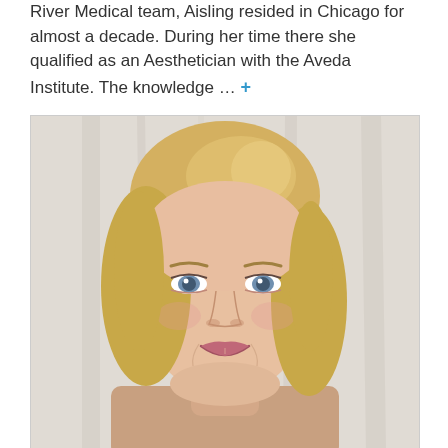River Medical team, Aisling resided in Chicago for almost a decade. During her time there she qualified as an Aesthetician with the Aveda Institute. The knowledge … +
[Figure (photo): Portrait photo of a blonde woman with blue eyes, smiling, against a white/light grey curtain background. Professional headshot style.]